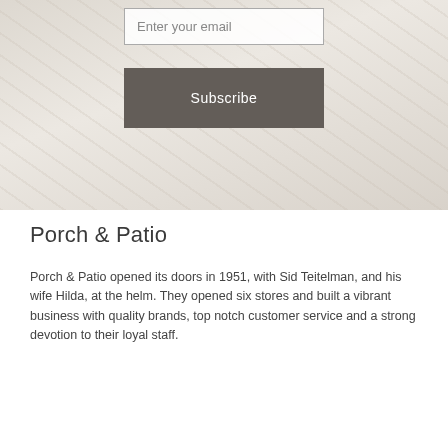[Figure (photo): Background hero image of porch/patio furniture, light and airy tone with diagonal texture overlay, muted beige tones]
Enter your email
Subscribe
Porch & Patio
Porch & Patio opened its doors in 1951, with Sid Teitelman, and his wife Hilda, at the helm. They opened six stores and built a vibrant business with quality brands, top notch customer service and a strong devotion to their loyal staff.